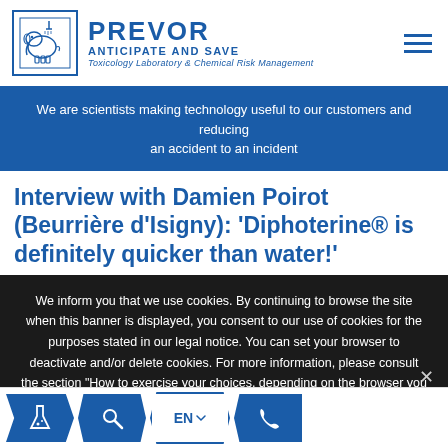[Figure (logo): PREVOR logo with elephant under shower, tagline ANTICIPATE AND SAVE, subtitle Toxicology Laboratory & Chemical Risk Management]
We are scientists making technology useful to our customers and reducing an accident to an incident
Interview with Damien Poirot (Beurrière d'Isigny): 'Diphoterine® is definitely quicker than water!'
We inform you that we use cookies. By continuing to browse the site when this banner is displayed, you consent to our use of cookies for the purposes stated in our legal notice. You can set your browser to deactivate and/or delete cookies. For more information, please consult the section "How to exercise your choices, depending on the browser you are using?" in our legal notice.
I agree
[Figure (infographic): Bottom navigation bar with blue parallelogram icons: lab bottle, search/magnifier, EN language selector, phone]